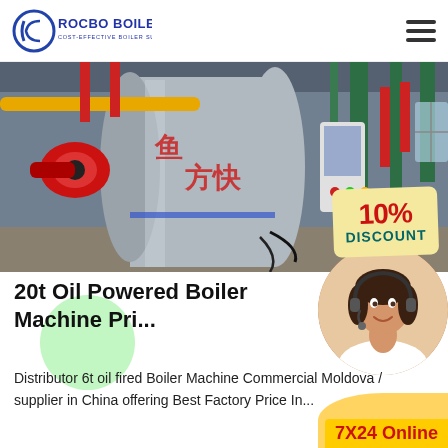[Figure (logo): Rocbo Boiler logo with circular C icon and text 'ROCBO BOILER / COST-EFFECTIVE BOILER SUPPLIER']
[Figure (photo): Industrial gas/oil-fired boiler machine in a factory setting, large cylindrical boiler with red burner, yellow and red piping, green structural beams, and a control cabinet. Chinese characters on boiler. 10% DISCOUNT badge overlaid bottom-right.]
20t Oil Powered Boiler Machine Pri...
Distributor 6t oil fired Boiler Machine Commercial Moldova / supplier in China offering Best Factory Price In...
[Figure (photo): Customer service representative with headset, smiling, circular cropped photo bottom-right]
7X24 Online